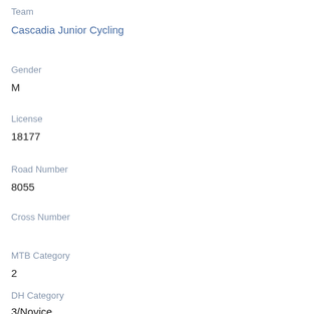Team
Cascadia Junior Cycling
Gender
M
License
18177
Road Number
8055
Cross Number
MTB Category
2
DH Category
3/Novice